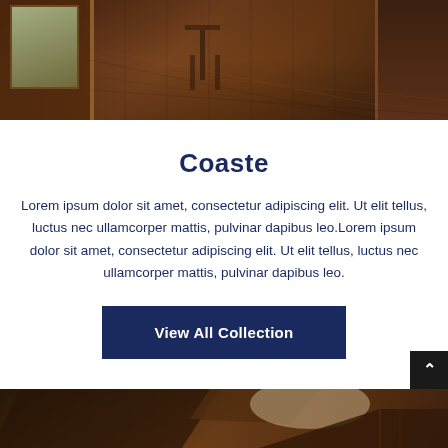[Figure (photo): Interior room photo showing dark wood flooring, wooden window frames on the left with greenery visible outside, a chair in the background, and dark wood cabinets on the right]
Coaste
Lorem ipsum dolor sit amet, consectetur adipiscing elit. Ut elit tellus, luctus nec ullamcorper mattis, pulvinar dapibus leo.Lorem ipsum dolor sit amet, consectetur adipiscing elit. Ut elit tellus, luctus nec ullamcorper mattis, pulvinar dapibus leo.
View All Collection
[Figure (photo): Interior room photo showing dark wood ceiling beams, a ceiling light fixture with warm glow, and wooden architectural details]